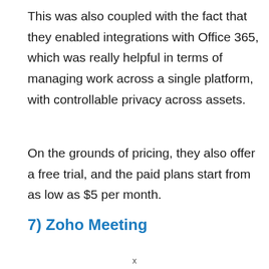This was also coupled with the fact that they enabled integrations with Office 365, which was really helpful in terms of managing work across a single platform, with controllable privacy across assets.
On the grounds of pricing, they also offer a free trial, and the paid plans start from as low as $5 per month.
7) Zoho Meeting